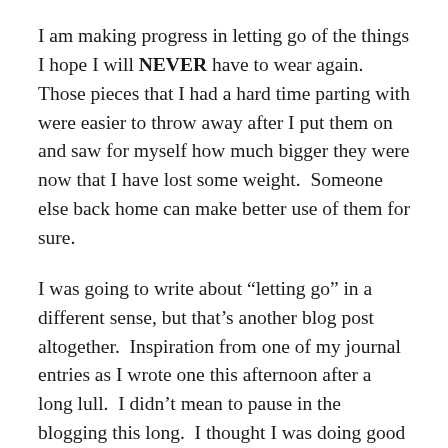I am making progress in letting go of the things I hope I will NEVER have to wear again.  Those pieces that I had a hard time parting with were easier to throw away after I put them on and saw for myself how much bigger they were now that I have lost some weight.  Someone else back home can make better use of them for sure.
I was going to write about “letting go” in a different sense, but that’s another blog post altogether.  Inspiration from one of my journal entries as I wrote one this afternoon after a long lull.  I didn’t mean to pause in the blogging this long.  I thought I was doing good — but the nine days that lapsed between this and the previous post leaves much to be desired.  I have to remind myself I’ve been trying.  And I WILL keep